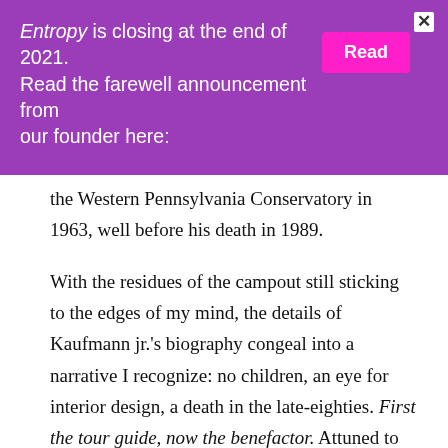Entropy is closing at the end of 2021. Read the farewell announcement from our founder here: Read
the Western Pennsylvania Conservatory in 1963, well before his death in 1989.
With the residues of the campout still sticking to the edges of my mind, the details of Kaufmann jr.'s biography congeal into a narrative I recognize: no children, an eye for interior design, a death in the late-eighties. First the tour guide, now the benefactor. Attuned to these suggestions of queerness, I start to form a small, drug-addled hope that this year,